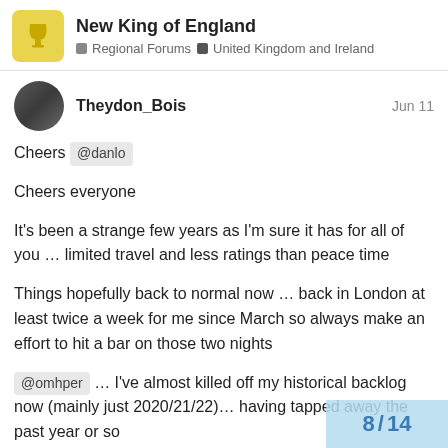New King of England — Regional Forums > United Kingdom and Ireland
Theydon_Bois   Jun 11
Cheers @danlo
Cheers everyone
It's been a strange few years as I'm sure it has for all of you … limited travel and less ratings than peace time
Things hopefully back to normal now … back in London at least twice a week for me since March so always make an effort to hit a bar on those two nights
@omhper … I've almost killed off my historical backlog now (mainly just 2020/21/22)… having tapped away the past year or so
But I do have my first two European beer t 2019
8 / 14